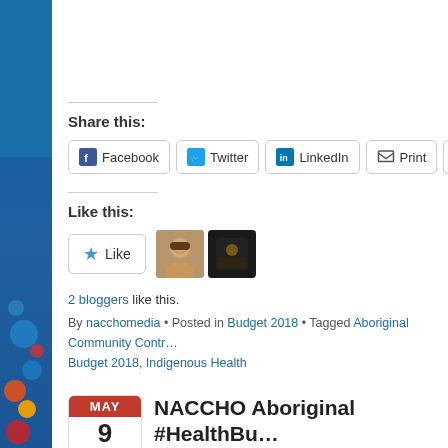Share this:
Facebook
Twitter
LinkedIn
Print
Email
Like this:
2 bloggers like this.
By nacchomedia • Posted in Budget 2018 • Tagged Aboriginal Community Control, Budget 2018, Indigenous Health
NACCHO Aboriginal #HealthBu… Press Release @KenWyattMP F… Government announces new f…